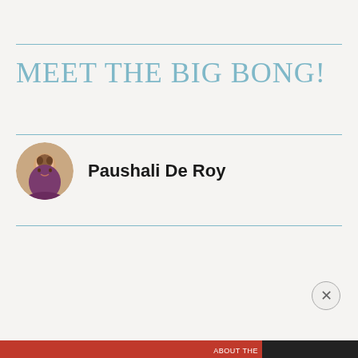MEET THE BIG BONG!
Paushali De Roy
BITTEN BY THE TRAVEL BUG
Privacy & Cookies: This site uses cookies. By continuing to use this website, you agree to their use.
To find out more, including how to control cookies, see here: Cookie Policy
Close and accept